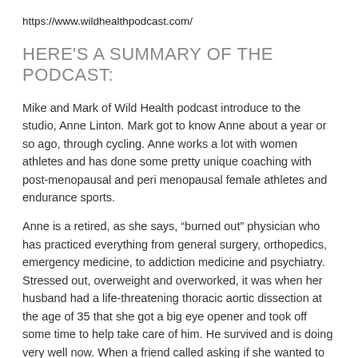https://www.wildhealthpodcast.com/
HERE'S A SUMMARY OF THE PODCAST:
Mike and Mark of Wild Health podcast introduce to the studio, Anne Linton. Mark got to know Anne about a year or so ago, through cycling. Anne works a lot with women athletes and has done some pretty unique coaching with post-menopausal and peri menopausal female athletes and endurance sports.
Anne is a retired, as she says, “burned out” physician who has practiced everything from general surgery, orthopedics, emergency medicine, to addiction medicine and psychiatry. Stressed out, overweight and overworked, it was when her husband had a life-threatening thoracic aortic dissection at the age of 35 that she got a big eye opener and took off some time to help take care of him. He survived and is doing very well now. When a friend called asking if she wanted to do a Half Ironman, she decided to put more focus on endurance sports and competing in triathlons. Anne had